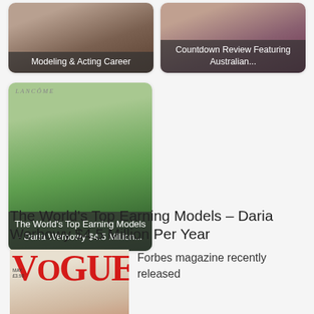[Figure (photo): Thumbnail card: dark photo of shoes/fashion with overlay label 'Modeling & Acting Career']
Modeling & Acting Career
[Figure (photo): Thumbnail card: dark portrait photo with overlay label 'Countdown Review Featuring Australian...']
Countdown Review Featuring Australian...
[Figure (photo): Large card with Lancome branding, outdoor/nature photo, overlay label 'The World's Top Earning Models - Daria Werbowy $4.5 Million...']
The World's Top Earning Models - Daria Werbowy $4.5 Million...
The World's Top Earning Models – Daria Werbowy $4.5 Million Per Year
[Figure (photo): Vogue magazine cover featuring a model, with large red VOGUE lettering and 'Trend' text at bottom]
Forbes magazine recently released